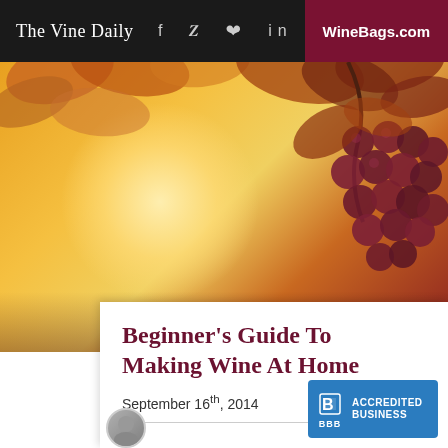The Vine Daily | f y @ in | WineBags.com
[Figure (photo): Hero image of a vineyard with warm golden sunlight filtering through autumn leaves and clusters of dark red grapes hanging on the right side.]
Beginner’s Guide To Making Wine At Home
September 16th, 2014
[Figure (logo): BBB Accredited Business badge in blue with white text and the BBB logo symbol.]